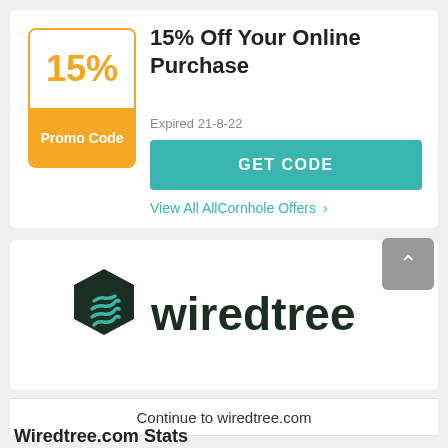15% Off Your Online Purchase
Expired 21-8-22
GET CODE
View All AllCornhole Offers >
[Figure (logo): wiredtree logo: dark hexagon with teal layered lines icon and 'wiredtree' wordmark in dark bold sans-serif]
Continue to wiredtree.com
Wiredtree.com Stats